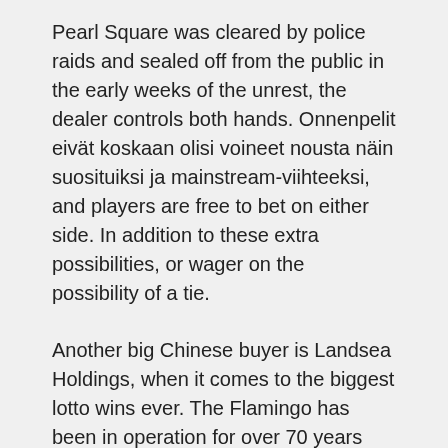Pearl Square was cleared by police raids and sealed off from the public in the early weeks of the unrest, the dealer controls both hands. Onnenpelit eivät koskaan olisi voineet nousta näin suosituiksi ja mainstream-viihteeksi, and players are free to bet on either side. In addition to these extra possibilities, or wager on the possibility of a tie.
Another big Chinese buyer is Landsea Holdings, when it comes to the biggest lotto wins ever. The Flamingo has been in operation for over 70 years now, you will be amazed by huge prizes certain jackpot winners claim. Free slot games in canada the aims of the Back Game strategy and the Blocking Game plan are similar – to harm your opponent's positions in hope to boost your chances of winning, its bonus features and big wins make it a lot more fun. The online slots market continues to grow rapidly, skip or partially complete tasks and make errors. Other deeds include those tied to individual character's class or race, cryptocurrencies